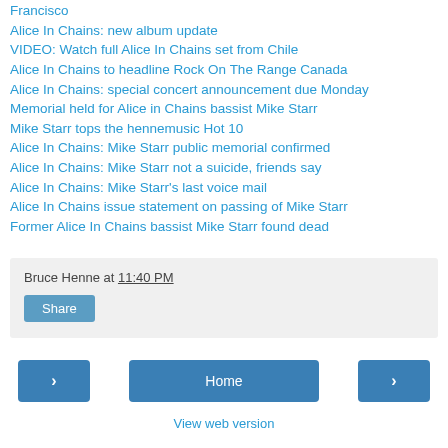Francisco
Alice In Chains: new album update
VIDEO: Watch full Alice In Chains set from Chile
Alice In Chains to headline Rock On The Range Canada
Alice In Chains: special concert announcement due Monday
Memorial held for Alice in Chains bassist Mike Starr
Mike Starr tops the hennemusic Hot 10
Alice In Chains: Mike Starr public memorial confirmed
Alice In Chains: Mike Starr not a suicide, friends say
Alice In Chains: Mike Starr's last voice mail
Alice In Chains issue statement on passing of Mike Starr
Former Alice In Chains bassist Mike Starr found dead
Bruce Henne at 11:40 PM
Share
Home
View web version